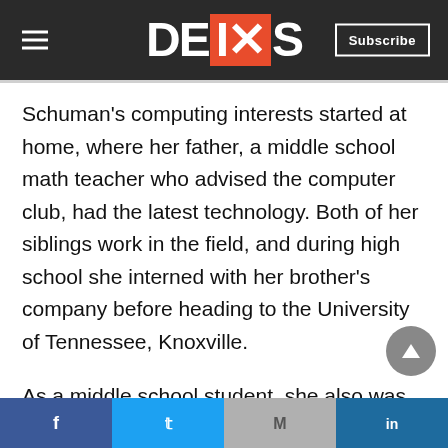DEIXIS — Subscribe
Schuman's computing interests started at home, where her father, a middle school math teacher who advised the computer club, had the latest technology. Both of her siblings work in the field, and during high school she interned with her brother's company before heading to the University of Tennessee, Knoxville.
As a middle school student, she also was fascinated by the work of ORNL geneticist Liane Russell and briefly considered following in her
Facebook | Twitter | Gmail | LinkedIn